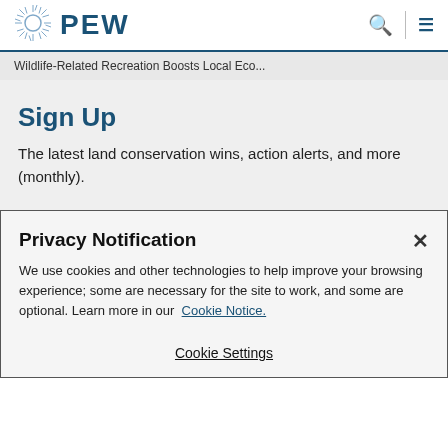[Figure (logo): PEW logo with sun/starburst icon and bold blue PEW text]
Wildlife-Related Recreation Boosts Local Eco...
Sign Up
The latest land conservation wins, action alerts, and more (monthly).
Privacy Notification
We use cookies and other technologies to help improve your browsing experience; some are necessary for the site to work, and some are optional. Learn more in our Cookie Notice.
Cookie Settings